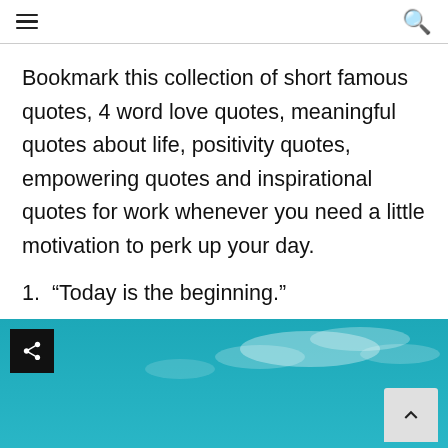☰ (menu icon) and 🔍 (search icon)
Bookmark this collection of short famous quotes, 4 word love quotes, meaningful quotes about life, positivity quotes,  empowering quotes and inspirational quotes for work whenever you need a little motivation to perk up your day.
1. “Today is the beginning.”
[Figure (photo): Teal/blue sky with clouds image, partially visible, with a share button in top-left corner, scroll-to-top button and Privacy/Terms bar in bottom-right area]